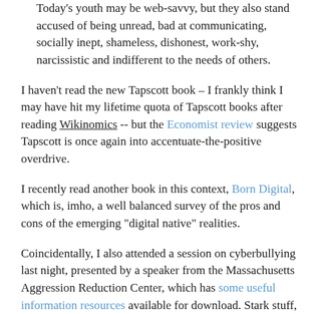Today's youth may be web-savvy, but they also stand accused of being unread, bad at communicating, socially inept, shameless, dishonest, work-shy, narcissistic and indifferent to the needs of others.
I haven't read the new Tapscott book – I frankly think I may have hit my lifetime quota of Tapscott books after reading Wikinomics -- but the Economist review suggests Tapscott is once again into accentuate-the-positive overdrive.
I recently read another book in this context, Born Digital, which is, imho, a well balanced survey of the pros and cons of the emerging "digital native" realities.
Coincidentally, I also attended a session on cyberbullying last night, presented by a speaker from the Massachusetts Aggression Reduction Center, which has some useful information resources available for download. Stark stuff, to put it mildly…
While I don't doubt there is ample room for cautious optimism about our digital destination and the…